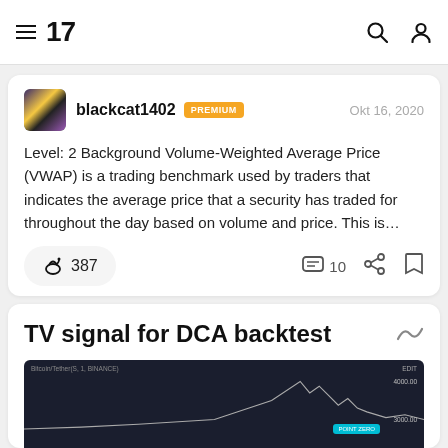TradingView navigation header with hamburger menu, TV logo, search and user icons
blackcat1402 PREMIUM  Okt 16, 2020
Level: 2 Background Volume-Weighted Average Price (VWAP) is a trading benchmark used by traders that indicates the average price that a security has traded for throughout the day based on volume and price. This is…
387  10
TV signal for DCA backtest
[Figure (screenshot): Dark-themed TradingView chart preview showing Bitcoin/Tether price chart with candlestick data, labeled Bitcoin/Tether(S,1, BINANCE), with price levels around 4000 and 3000, and a teal POINT ZERO marker]